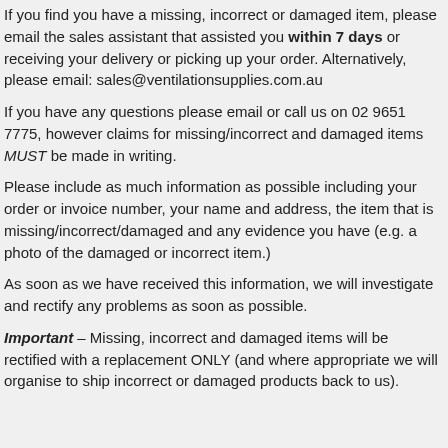If you find you have a missing, incorrect or damaged item, please email the sales assistant that assisted you within 7 days or receiving your delivery or picking up your order. Alternatively, please email: sales@ventilationsupplies.com.au
If you have any questions please email or call us on 02 9651 7775, however claims for missing/incorrect and damaged items MUST be made in writing.
Please include as much information as possible including your order or invoice number, your name and address, the item that is missing/incorrect/damaged and any evidence you have (e.g. a photo of the damaged or incorrect item.)
As soon as we have received this information, we will investigate and rectify any problems as soon as possible.
Important – Missing, incorrect and damaged items will be rectified with a replacement ONLY (and where appropriate we will organise to ship incorrect or damaged products back to us).